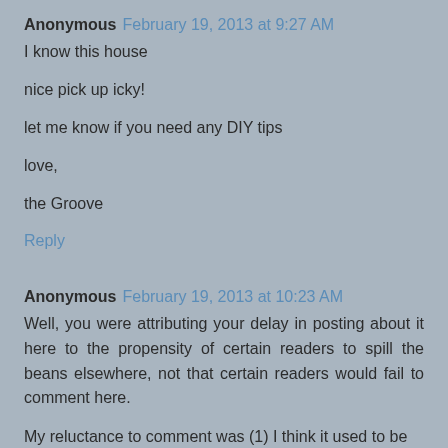Anonymous February 19, 2013 at 9:27 AM
I know this house

nice pick up icky!

let me know if you need any DIY tips

love,

the Groove
Reply
Anonymous February 19, 2013 at 10:23 AM
Well, you were attributing your delay in posting about it here to the propensity of certain readers to spill the beans elsewhere, not that certain readers would fail to comment here.
My reluctance to comment was (1) I think it used to be